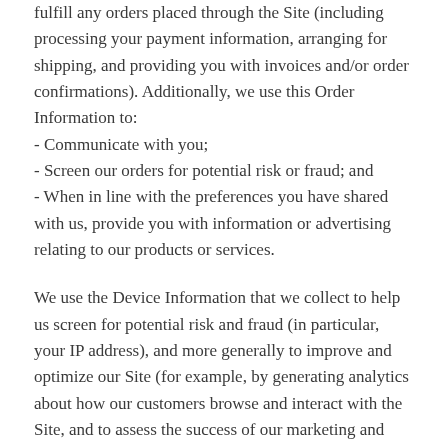fulfill any orders placed through the Site (including processing your payment information, arranging for shipping, and providing you with invoices and/or order confirmations). Additionally, we use this Order Information to:
- Communicate with you;
- Screen our orders for potential risk or fraud; and
- When in line with the preferences you have shared with us, provide you with information or advertising relating to our products or services.
We use the Device Information that we collect to help us screen for potential risk and fraud (in particular, your IP address), and more generally to improve and optimize our Site (for example, by generating analytics about how our customers browse and interact with the Site, and to assess the success of our marketing and advertising campaigns).